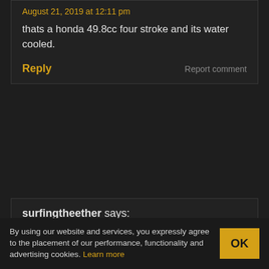August 21, 2019 at 12:11 pm
thats a honda 49.8cc four stroke and its water cooled.
Reply
Report comment
surfingtheether says:
October 27, 2014 at 8:34 pm
Mopeds are a huge contributor to population control, making them vary environmentally friendly.
Reply
Report comment
By using our website and services, you expressly agree to the placement of our performance, functionality and advertising cookies. Learn more
OK